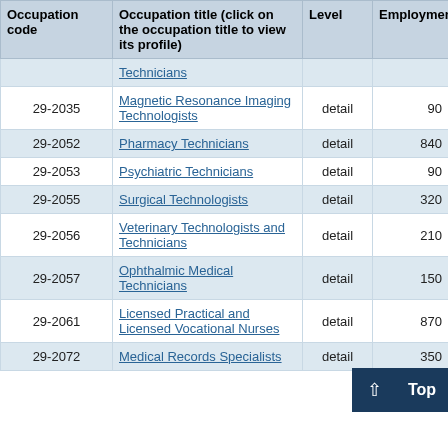| Occupation code | Occupation title (click on the occupation title to view its profile) | Level | Employment | Employment RSE |
| --- | --- | --- | --- | --- |
|  | Technicians |  |  |  |
| 29-2035 | Magnetic Resonance Imaging Technologists | detail | 90 | 5 |
| 29-2052 | Pharmacy Technicians | detail | 840 | 4 |
| 29-2053 | Psychiatric Technicians | detail | 90 | 20 |
| 29-2055 | Surgical Technologists | detail | 320 | 4 |
| 29-2056 | Veterinary Technologists and Technicians | detail | 210 | 11 |
| 29-2057 | Ophthalmic Medical Technicians | detail | 150 | 27 |
| 29-2061 | Licensed Practical and Licensed Vocational Nurses | detail | 870 | 6 |
| 29-2072 | Medical Records Specialists | detail | 350 | 13 |